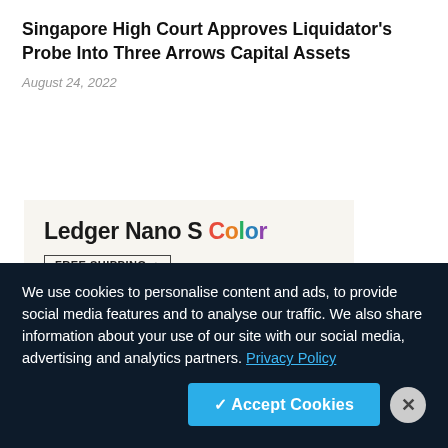Singapore High Court Approves Liquidator's Probe Into Three Arrows Capital Assets
August 24, 2022
[Figure (illustration): Advertisement for Ledger Nano S Color hardware wallet with 'FREE SHIPPING' badge and tagline 'Keep Your Crypto']
We use cookies to personalise content and ads, to provide social media features and to analyse our traffic. We also share information about your use of our site with our social media, advertising and analytics partners. Privacy Policy